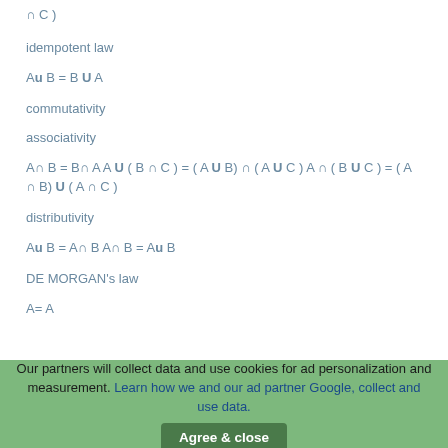idempotent law
commutativity
associativity
distributivity
DE MORGAN's law
Our partners will collect data and use cookies for ad personalization and measurement. Learn how we and our ad partner Google, collect and use data.